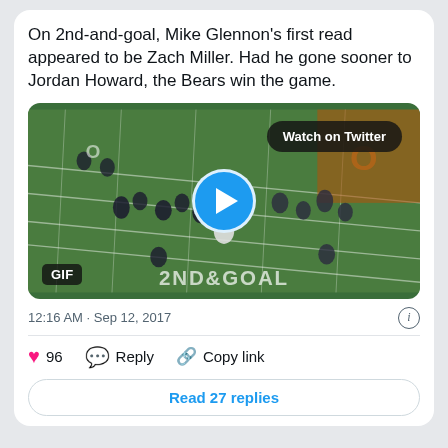On 2nd-and-goal, Mike Glennon's first read appeared to be Zach Miller. Had he gone sooner to Jordan Howard, the Bears win the game.
[Figure (photo): Football field aerial view showing players lined up, with a blue play button circle in the center, a 'Watch on Twitter' button in the top right, and a 'GIF' label in the bottom left. The end zone shows '2ND&GOAL'.]
12:16 AM · Sep 12, 2017
❤ 96   Reply   Copy link
Read 27 replies